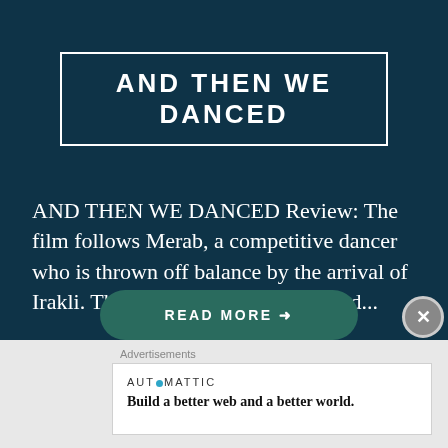AND THEN WE DANCED
AND THEN WE DANCED Review: The film follows Merab, a competitive dancer who is thrown off balance by the arrival of Irakli. This causes intense rivalry and...
READ MORE →
Advertisements
[Figure (other): Automattic advertisement: AUT⊙MATTIC logo with tagline 'Build a better web and a better world.']